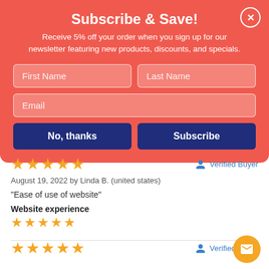Subscribe & Save!
Receive 5% off your order when you sign up for our newsletter featuring new products, discounts, and specials.
[Figure (screenshot): Email subscription form with First Name, Last Name, Email fields, and No thanks / Subscribe buttons on red background]
[Figure (other): Five orange star rating]
Verified Buyer
August 19, 2022 by Linda B. (united states)
“Ease of use of website”
Website experience
[Figure (other): Five orange star rating for Website experience]
[Figure (other): Five orange star rating (second review, partial)]
Verified Buyer